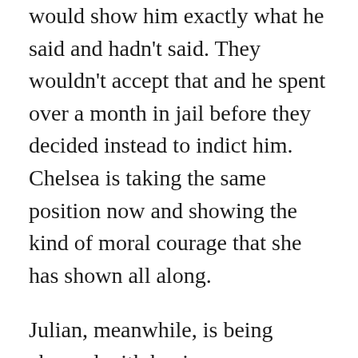would show him exactly what he said and hadn't said. They wouldn't accept that and he spent over a month in jail before they decided instead to indict him. Chelsea is taking the same position now and showing the kind of moral courage that she has shown all along.
Julian, meanwhile, is being charged with having gone beyond the limits of journalism by helping Manning to conceal her identity with a new username. He is also charged with having encouraged her to give him documents. That is criminalizing journalism. I can't count the number of times that I have been asked for documents by journalists or for more documents. She had already given hundreds of thousands of files to Assange